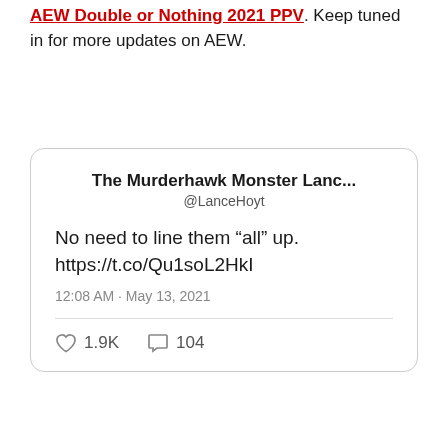AEW Double or Nothing 2021 PPV. Keep tuned in for more updates on AEW.
[Figure (screenshot): Embedded tweet from @LanceHoyt (The Murderhawk Monster Lanc...) saying 'No need to line them "all" up. https://t.co/Qu1soL2HkI' posted at 12:08 AM May 13, 2021 with 1.9K likes and 104 comments.]
#AEW NEWS  #Darby Allin  #Rusev